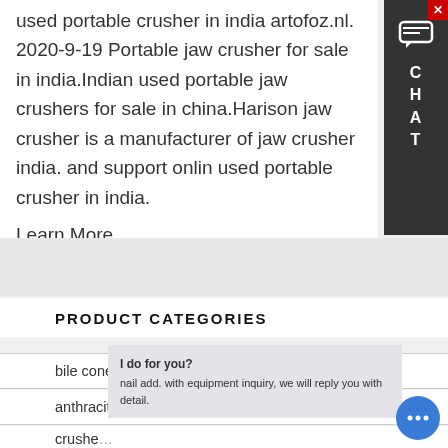used portable crusher in india artofoz.nl. 2020-9-19 Portable jaw crusher for sale in india.Indian used portable jaw crushers for sale in china.Harison jaw crusher is a manufacturer of jaw crusher india. and support onlin used portable crusher in india.
Learn More
[Figure (other): Chat widget panel on the right side with close button (X), chat bubble icon, and letters C H A T stacked vertically on dark background]
PRODUCT CATEGORIES
bile cone crusher hammer crusher hpc cone crusher
anthracite coal crusher in india
crushe
[Figure (other): Chat popup tooltip showing text: I do for you? nail add. with equipment inquiry, we will reply you with detail.]
[Figure (other): Floating blue circular chat button with three dots (ellipsis) icon]